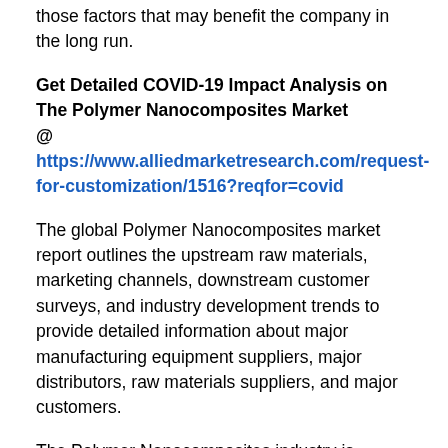those factors that may benefit the company in the long run.
Get Detailed COVID-19 Impact Analysis on The Polymer Nanocomposites Market @ https://www.alliedmarketresearch.com/request-for-customization/1516?reqfor=covid
The global Polymer Nanocomposites market report outlines the upstream raw materials, marketing channels, downstream customer surveys, and industry development trends to provide detailed information about major manufacturing equipment suppliers, major distributors, raw materials suppliers, and major customers.
The Polymer Nanocomposites industry is studied on